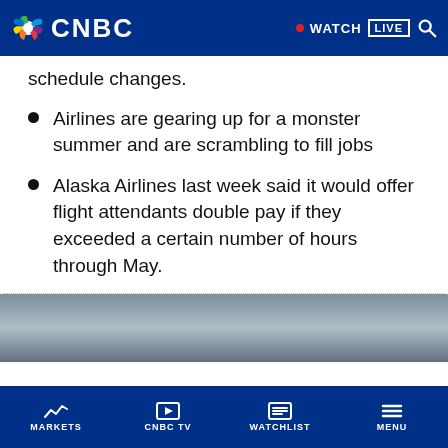CNBC — WATCH LIVE
schedule changes.
Airlines are gearing up for a monster summer and are scrambling to fill jobs
Alaska Airlines last week said it would offer flight attendants double pay if they exceeded a certain number of hours through May.
[Figure (photo): Aerial or outdoor scene with overcast sky, partial image at bottom of page]
MARKETS | CNBC TV | WATCHLIST | MENU